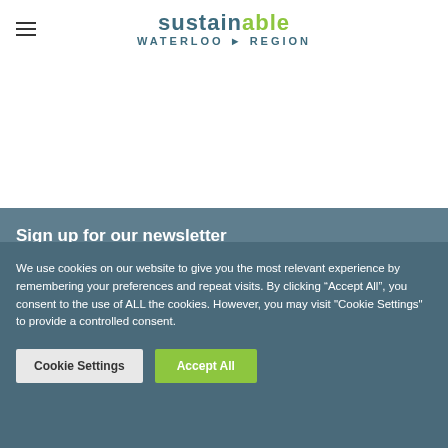sustainable WATERLOO REGION
Sign up for our newsletter
We use cookies on our website to give you the most relevant experience by remembering your preferences and repeat visits. By clicking “Accept All”, you consent to the use of ALL the cookies. However, you may visit "Cookie Settings" to provide a controlled consent.